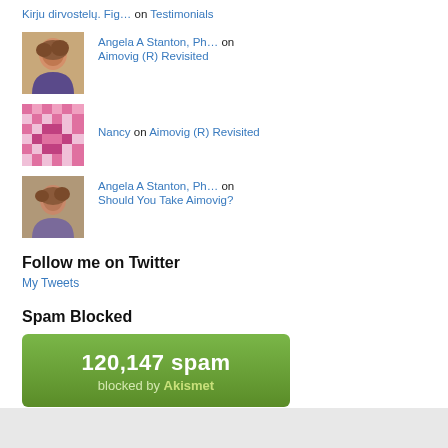Kirju dirvostelų. Fig… on Testimonials
[Figure (photo): Portrait photo of Angela A Stanton, a woman with curly reddish-brown hair]
Angela A Stanton, Ph… on Aimovig (R) Revisited
[Figure (photo): Decorative pixel/quilt pattern avatar for Nancy in pink and white]
Nancy on Aimovig (R) Revisited
[Figure (photo): Portrait photo of Angela A Stanton, a woman with curly hair]
Angela A Stanton, Ph… on Should You Take Aimovig?
Follow me on Twitter
My Tweets
Spam Blocked
[Figure (infographic): Green rounded rectangle showing 120,147 spam blocked by Akismet]
Stanton Migraine Protocol